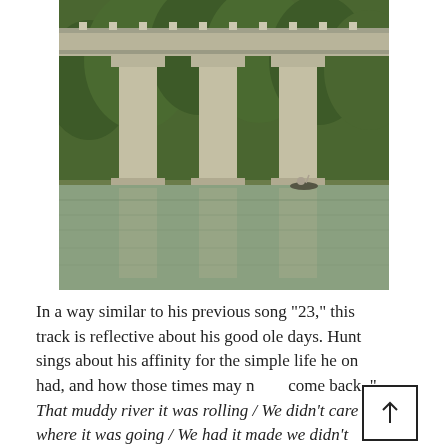[Figure (photo): Photograph of a concrete highway bridge with multiple support pillars rising from a calm green river. Dense green trees form the background. A small boat with a person is visible near the base of the pillars. The pillars are reflected in the still water below.]
In a way similar to his previous song "23," this track is reflective about his good ole days. Hunt sings about his affinity for the simple life he once had, and how those times may never come back. " That muddy river it was rolling / We didn't care where it was going / We had it made we didn't